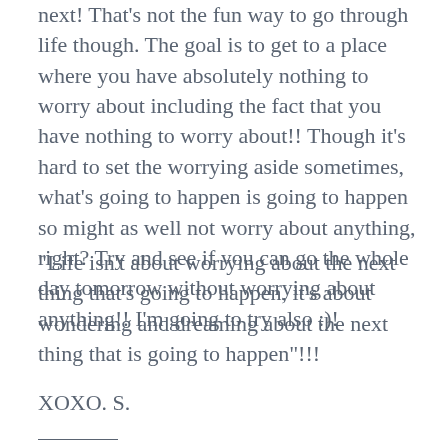next! That's not the fun way to go through life though. The goal is to get to a place where you have absolutely nothing to worry about including the fact that you have nothing to worry about!! Though it's hard to set the worrying aside sometimes, what's going to happen is going to happen so might as well not worry about anything, right? Try and see if you can go the whole day tomorrow without worrying about anything!! I'm going to try also :)!
“Life isn't about worrying about the next thing that's going to happen, it's about wondering and dreaming about the next thing that is going to happen”!!!
XOXO. S.